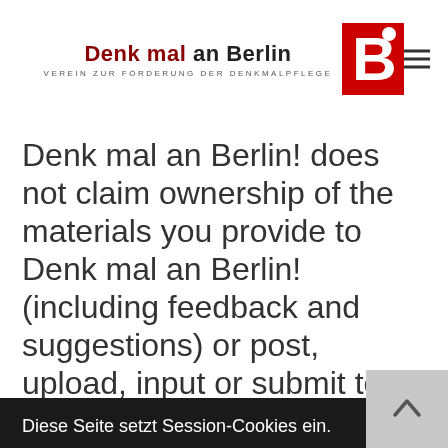Denk mal an Berlin! — VEREIN ZUR FÖRDERUNG DER DENKMALPFLEGE
Denk mal an Berlin! does not claim ownership of the materials you provide to Denk mal an Berlin! (including feedback and suggestions) or post, upload, input or submit to any Denk mal an Berlin!
Diese Seite setzt Session-Cookies ein.
Mehr erfahren
Verstanden!
Denk mal an Berlin!, its affiliated